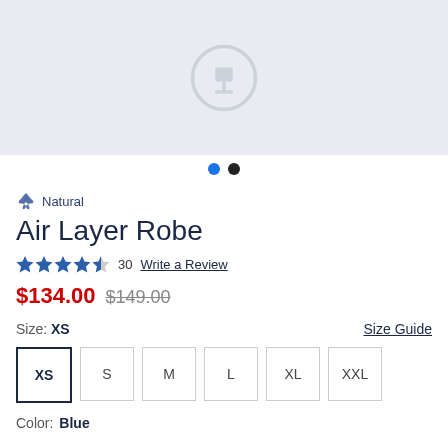[Figure (photo): Product image placeholder with light blue-grey background and generic image icon]
Natural
Air Layer Robe
★★★★½  30   Write a Review
$134.00  $149.00
Size: XS
Size Guide
XS  S  M  L  XL  XXL
Color: Blue